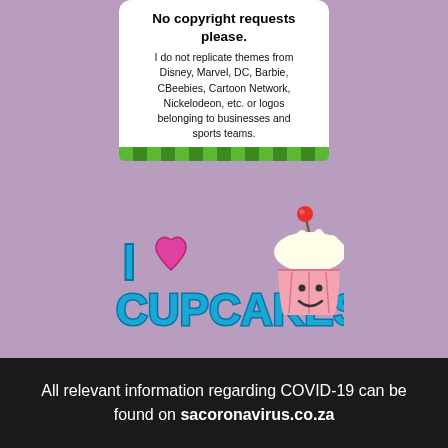No copyright requests please. I do not replicate themes from Disney, Marvel, DC, Barbie, CBeebies, Cartoon Network, Nickelodeon, etc. or logos belonging to businesses and sports teams.
[Figure (illustration): I Love Cupcakes logo with a cute cupcake character with a cherry on top, smiley face, and colorful text]
NEED A WEDDING CAKE? Click here now: the wedding cake
All relevant information regarding COVID-19 can be found on sacoronavirus.co.za